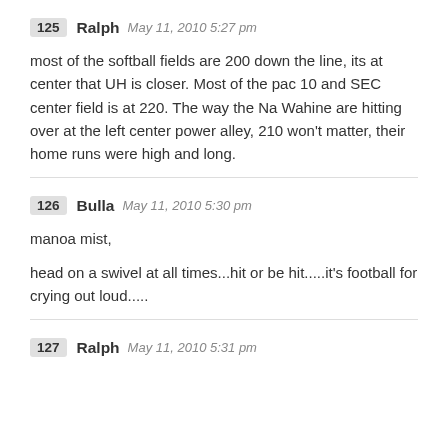125 Ralph May 11, 2010 5:27 pm
most of the softball fields are 200 down the line, its at center that UH is closer. Most of the pac 10 and SEC center field is at 220. The way the Na Wahine are hitting over at the left center power alley, 210 won't matter, their home runs were high and long.
126 Bulla May 11, 2010 5:30 pm
manoa mist,
head on a swivel at all times...hit or be hit.....it's football for crying out loud.....
127 Ralph May 11, 2010 5:31 pm